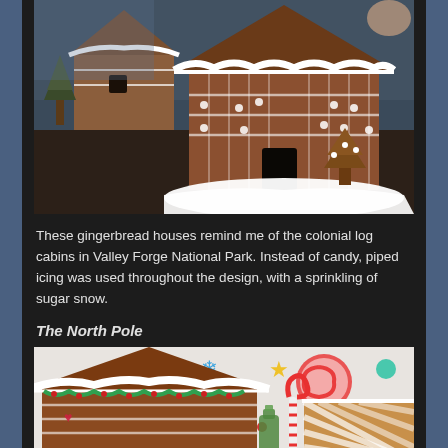[Figure (photo): Gingerbread houses decorated with white piped icing resembling colonial log cabins, with sugar snow on a dark table surface.]
These gingerbread houses remind me of the colonial log cabins in Valley Forge National Park. Instead of candy, piped icing was used throughout the design, with a sprinkling of sugar snow.
The North Pole
[Figure (photo): Colorful gingerbread house decorated for the North Pole theme with candy canes, snowflakes, and bright icing decorations.]